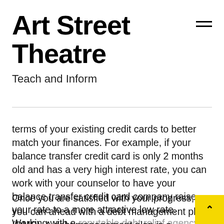Art Street Theatre
Teach and Inform
terms of your existing credit cards to better match your finances. For example, if your balance transfer credit card is only 2 months old and has a very high interest rate, you can work with your counselor to have your balance transfer credit card company raise your rate to a more attractive low rate. Working with a reputable debt relief agency will help you to be more successful with your efforts to getting out of debt.
Once you are satisfied with your progress, you can ahead with a debt management plan (DMP). A debt management plan is a repayment plan that you make